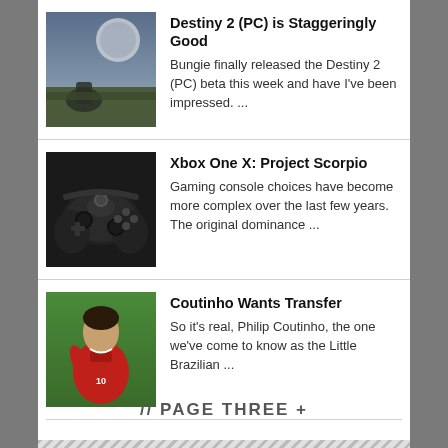Destiny 2 (PC) is Staggeringly Good
Bungie finally released the Destiny 2 (PC) beta this week and have I've been impressed. ...
Xbox One X: Project Scorpio
Gaming console choices have become more complex over the last few years. The original dominance ...
Coutinho Wants Transfer
So it's real, Philip Coutinho, the one we've come to know as the Little Brazilian ...
// PAGE THREE +